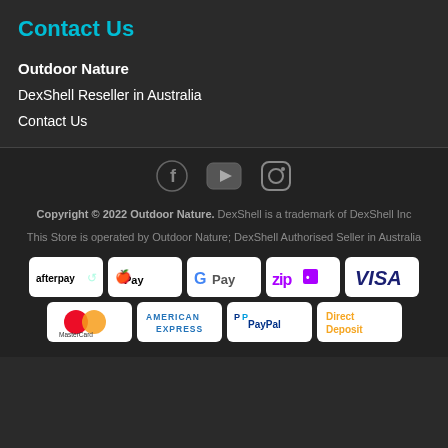Contact Us
Outdoor Nature
DexShell Reseller in Australia
Contact Us
[Figure (infographic): Social media icons: Facebook, YouTube, Instagram]
Copyright © 2022 Outdoor Nature. DexShell is a trademark of DexShell Inc
This Store is operated by Outdoor Nature; DexShell Authorised Seller in Australia
[Figure (infographic): Payment method logos: Afterpay, Apple Pay, Google Pay, Zip, Visa, Mastercard, American Express, PayPal, Direct Deposit]